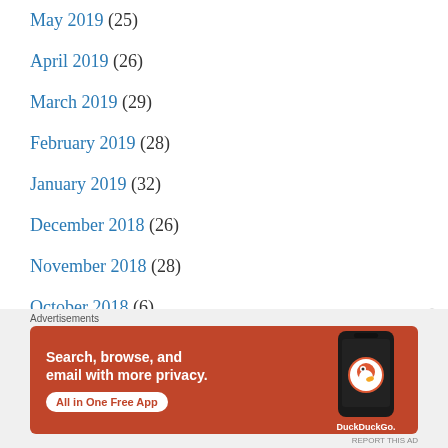May 2019 (25)
April 2019 (26)
March 2019 (29)
February 2019 (28)
January 2019 (32)
December 2018 (26)
November 2018 (28)
October 2018 (6)
Top Posts & Pages
[Figure (screenshot): DuckDuckGo advertisement banner with orange background. Text: 'Search, browse, and email with more privacy. All in One Free App'. Shows a phone with DuckDuckGo logo.]